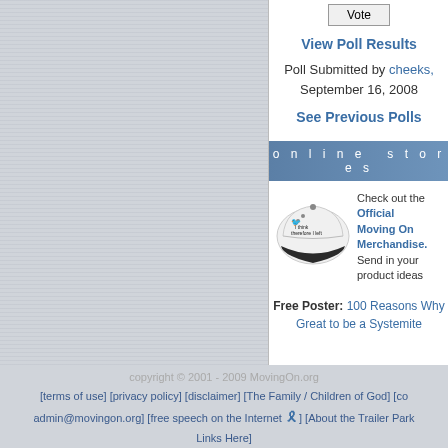Vote
View Poll Results
Poll Submitted by cheeks, September 16, 2008
See Previous Polls
online stores
[Figure (photo): White and black baseball cap with text 'I think therefore I left']
Check out the Official Moving On Merchandise. Send in your product ideas
Free Poster: 100 Reasons Why Great to be a Systemite
copyright © 2001 - 2009 MovingOn.org
[terms of use] [privacy policy] [disclaimer] [The Family / Children of God] [co admin@movingon.org] [free speech on the Internet] [About the Trailer Park Links Here]